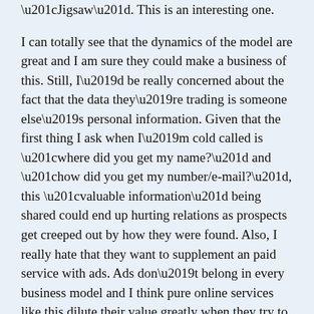“Jigsaw”. This is an interesting one.
I can totally see that the dynamics of the model are great and I am sure they could make a business of this. Still, I’d be really concerned about the fact that the data they’re trading is someone else’s personal information. Given that the first thing I ask when I’m cold called is “where did you get my name?” and “how did you get my number/e-mail?”, this “valuable information” being shared could end up hurting relations as prospects get creeped out by how they were found. Also, I really hate that they want to supplement an paid service with ads. Ads don’t belong in every business model and I think pure online services like this dilute their value greatly when they try to make a few extra bucks with banner ads.
Does anyone know if CEO Jim Fowler (not “the Jim